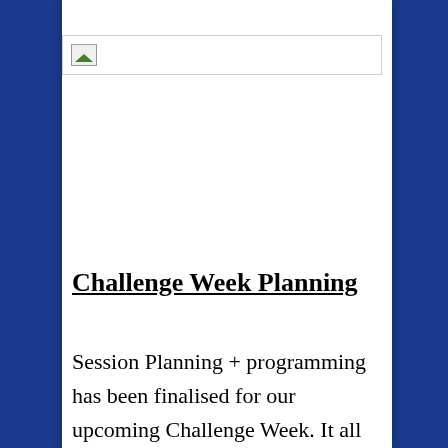[Figure (logo): Logo placeholder image with small icon in top-left corner, bordered rectangle]
Challenge Week Planning
Session Planning + programming has been finalised for our upcoming Challenge Week. It all kicks off on Sunday 13th